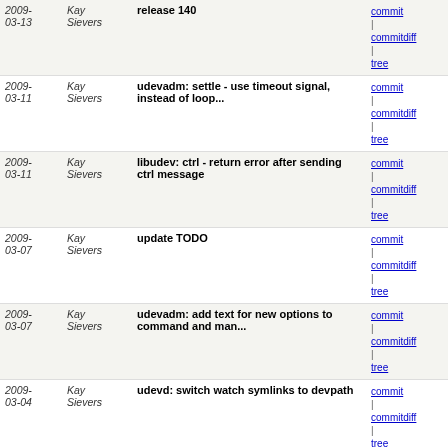| Date | Author | Message | Links |
| --- | --- | --- | --- |
| 2009-03-13 | Kay Sievers | release 140 | commit | commitdiff | tree |
| 2009-03-11 | Kay Sievers | udevadm: settle - use timeout signal, instead of loop... | commit | commitdiff | tree |
| 2009-03-11 | Kay Sievers | libudev: ctrl - return error after sending ctrl message | commit | commitdiff | tree |
| 2009-03-07 | Kay Sievers | update TODO | commit | commitdiff | tree |
| 2009-03-07 | Kay Sievers | udevadm: add text for new options to command and man... | commit | commitdiff | tree |
| 2009-03-04 | Kay Sievers | udevd: switch watch symlinks to devpath | commit | commitdiff | tree |
| 2009-03-04 | Kay Sievers | udevadm: settle - add --seq-start= --seq-end= | commit | commitdiff | tree |
| 2009-03-04 | Kay Sievers | libudev: queue - use lstat() to check existence of... | commit | commitdiff | tree |
| 2009-03-04 | Kay Sievers | rules: Fedora update | commit | commitdiff | tree |
| 2009-03-04 | Kay Sievers | update TODO | commit | commitdiff | tree |
| 2009-03-03 | Kay Sievers | volume_id: ntfs - fix uuid setting | commit | commitdiff | tree |
next
Unnamed repository; edit this file 'description' to name the repository.